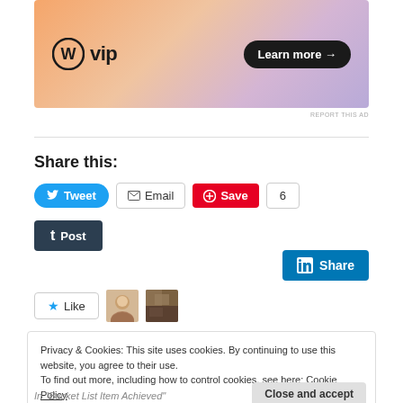[Figure (other): WordPress VIP advertisement banner with orange/purple gradient background, WP logo, 'vip' text, and 'Learn more →' button]
REPORT THIS AD
Share this:
Tweet   Email   Save   6
Post
Share
Like
Privacy & Cookies: This site uses cookies. By continuing to use this website, you agree to their use.
To find out more, including how to control cookies, see here: Cookie Policy
Close and accept
In "Bucket List Item Achieved"